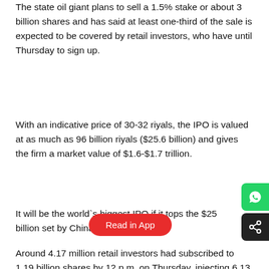The state oil giant plans to sell a 1.5% stake or about 3 billion shares and has said at least one-third of the sale is expected to be covered by retail investors, who have until Thursday to sign up.
With an indicative price of 30-32 riyals, the IPO is valued at as much as 96 billion riyals ($25.6 billion) and gives the firm a market value of $1.6-$1.7 trillion.
It will be the world`s biggest IPO if it tops the $25 billion set by China`s Alibaba in 2[Read in App]
Around 4.17 million retail investors had subscribed to 1.19 billion shares by 12 p.m. on Thursday, injecting 6.13 billion riyals above the amount needed for full coverage, Samba said.
Subscription will continue until midnight on Thursday and final